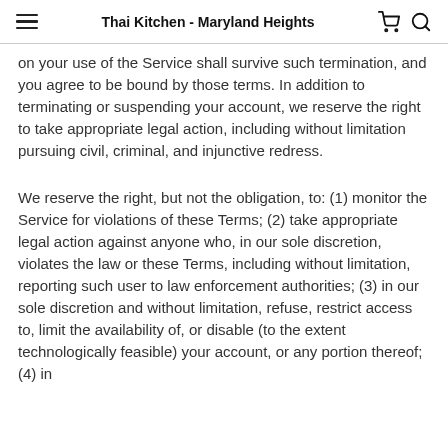Thai Kitchen - Maryland Heights
on your use of the Service shall survive such termination, and you agree to be bound by those terms. In addition to terminating or suspending your account, we reserve the right to take appropriate legal action, including without limitation pursuing civil, criminal, and injunctive redress.
We reserve the right, but not the obligation, to: (1) monitor the Service for violations of these Terms; (2) take appropriate legal action against anyone who, in our sole discretion, violates the law or these Terms, including without limitation, reporting such user to law enforcement authorities; (3) in our sole discretion and without limitation, refuse, restrict access to, limit the availability of, or disable (to the extent technologically feasible) your account, or any portion thereof; (4) in